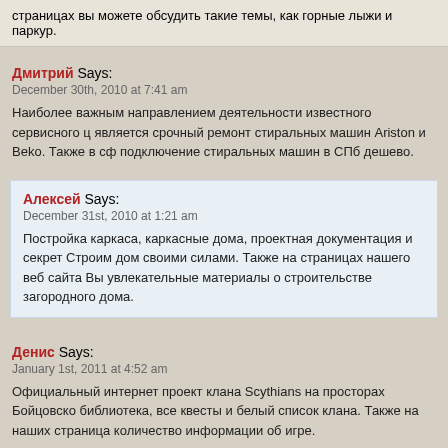страницах вы можете обсудить такие темы, как горные лыжи и паркур.
Дмитрий Says:
December 30th, 2010 at 7:41 am
Наиболее важным направлением деятельности известного сервисного ц является срочный ремонт стиральных машин Ariston и Beko. Также в сф подключение стиральных машин в СПб дешево.
Алексей Says:
December 31st, 2010 at 1:21 am
Постройка каркаса, каркасные дома, проектная документация и секрет Строим дом своими силами. Также на страницах нашего веб сайта Вы увлекательные материалы о строительстве загородного дома.
Денис Says:
January 1st, 2011 at 4:52 am
Официальный интернет проект клана Scythians на просторах Бойцовско библиотека, все квесты и белый список клана. Также на наших страница количество информации об игре.